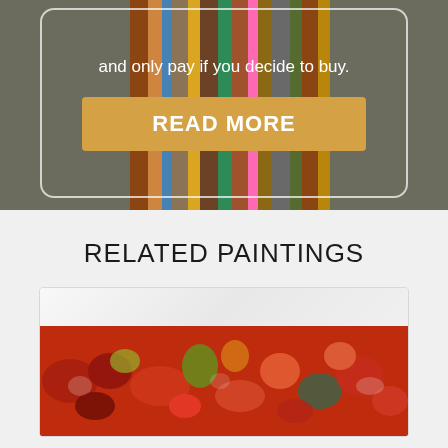and only pay if you decide to buy.
READ MORE
[Figure (photo): Abstract colorful vertical stripe painting visible as background behind rounded-corner overlay box]
RELATED PAINTINGS
[Figure (photo): Abstract red painting with colorful splashes mounted on white wall, shown in a white frame card]